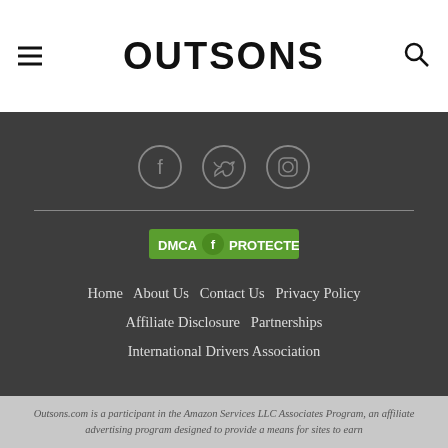OUTSONS
[Figure (logo): OUTSONS website header with hamburger menu icon on left, OUTSONS bold logo in center, and search icon on right]
[Figure (infographic): Social media icons: Facebook, Twitter, Instagram in dark footer area with circular outlines]
[Figure (logo): DMCA Protected badge - green rectangle with DMCA text and shield icon, followed by PROTECTED text]
Home  About Us  Contact Us  Privacy Policy  Affiliate Disclosure  Partnerships  International Drivers Association
Outsons.com is a participant in the Amazon Services LLC Associates Program, an affiliate advertising program designed to provide a means for sites to earn